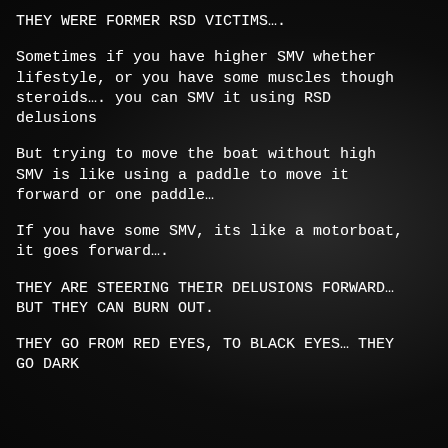THEY WERE FORMER RSD VICTIMS….
Sometimes if you have higher SMV whether lifestyle, or you have some muscles though steroids…. you can SMV it using RSD delusions
But trying to move the boat without high SMV is like using a paddle to move it forward or one paddle…
If you have some SMV, its like a motorboat, it goes forward….
THEY ARE STEERING THEIR DELUSIONS FORWARD… BUT THEY CAN BURN OUT.
THEY GO FROM RED EYES, TO BLACK EYES… THEY GO DARK